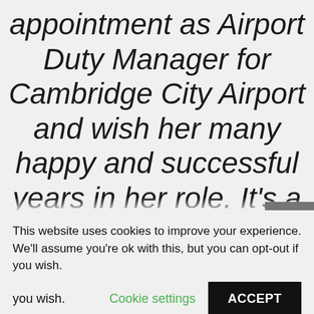appointment as Airport Duty Manager for Cambridge City Airport and wish her many happy and successful years in her role. It's a joy to see how Zoe has learnt and progressed during her time with us. I'd also like to thank Scott Litchfield who has done an amazing job in this role over
This website uses cookies to improve your expe... We'll assume you're ok with this, but you can op... if you wish.
Cookie settings
ACCEPT